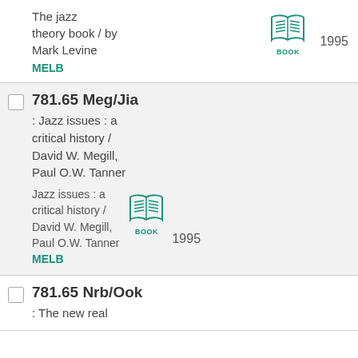The jazz theory book / by Mark Levine
MELB
1995
781.65 Meg/Jia
: Jazz issues : a critical history / David W. Megill, Paul O.W. Tanner
Jazz issues : a critical history / David W. Megill, Paul O.W. Tanner
MELB
1995
781.65 Nrb/Ook
: The new real